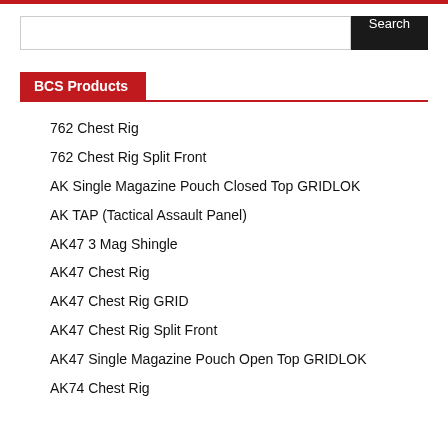Search
BCS Products
762 Chest Rig
762 Chest Rig Split Front
AK Single Magazine Pouch Closed Top GRIDLOK
AK TAP (Tactical Assault Panel)
AK47 3 Mag Shingle
AK47 Chest Rig
AK47 Chest Rig GRID
AK47 Chest Rig Split Front
AK47 Single Magazine Pouch Open Top GRIDLOK
AK74 Chest Rig